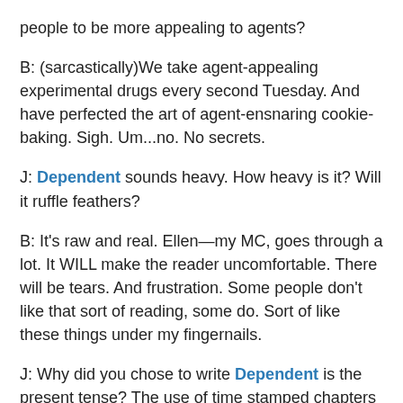people to be more appealing to agents?
B: (sarcastically)We take agent-appealing experimental drugs every second Tuesday. And have perfected the art of agent-ensnaring cookie-baking. Sigh. Um...no. No secrets.
J: Dependent sounds heavy. How heavy is it? Will it ruffle feathers?
B: It's raw and real. Ellen—my MC, goes through a lot. It WILL make the reader uncomfortable. There will be tears. And frustration. Some people don't like that sort of reading, some do. Sort of like these things under my fingernails.
J: Why did you chose to write Dependent is the present tense? The use of time stamped chapters seems incongruous with that choice.
B: Military families move frequently, so wherever you are at the time becomes home…at least temporarily. It's the reality of the moment. And when we look back on things we tend to remember milestones by where we were—what house and